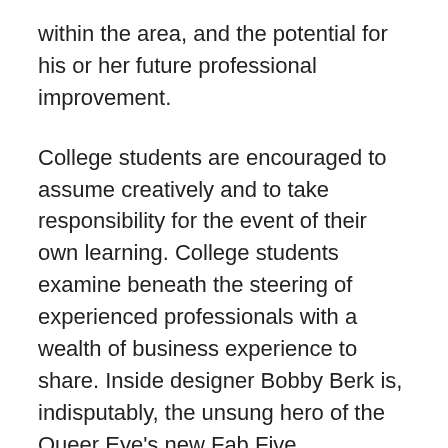within the area, and the potential for his or her future professional improvement.
College students are encouraged to assume creatively and to take responsibility for the event of their own learning. College students examine beneath the steering of experienced professionals with a wealth of business experience to share. Inside designer Bobby Berk is, indisputably, the unsung hero of the Queer Eye's new Fab Five.
The course is practical, has sturdy trade support and will launch you into an thrilling career as an interior designer. Massive and tiny corporations usually hire inside designers as employees on common working hours. The course places a robust emphasis on gaining hands-on expertise and students are inspired to be...